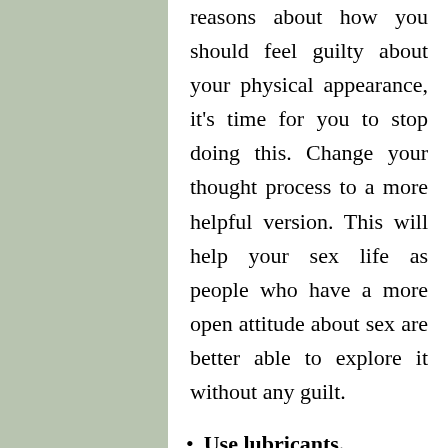reasons about how you should feel guilty about your physical appearance, it's time for you to stop doing this. Change your thought process to a more helpful version. This will help your sex life as people who have a more open attitude about sex are better able to explore it without any guilt.
Use lubricants.